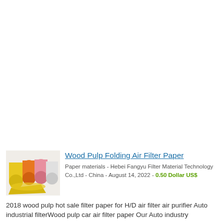[Figure (photo): Product photo showing multiple rolls of filter paper in various colors (yellow, orange, pink, green, white) stacked together with a yellow wedge-shaped piece in front.]
Wood Pulp Folding Air Filter Paper
Paper materials - Hebei Fangyu Filter Material Technology Co.,Ltd - China - August 14, 2022 - 0.50 Dollar US$
2018 wood pulp hot sale filter paper for H/D air filter air purifier Auto industrial filterWood pulp car air filter paper Our Auto industry